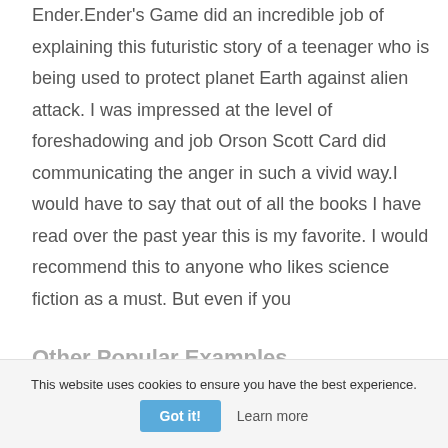Ender.Ender's Game did an incredible job of explaining this futuristic story of a teenager who is being used to protect planet Earth against alien attack. I was impressed at the level of foreshadowing and job Orson Scott Card did communicating the anger in such a vivid way.I would have to say that out of all the books I have read over the past year this is my favorite. I would recommend this to anyone who likes science fiction as a must. But even if you
Other Popular Examples